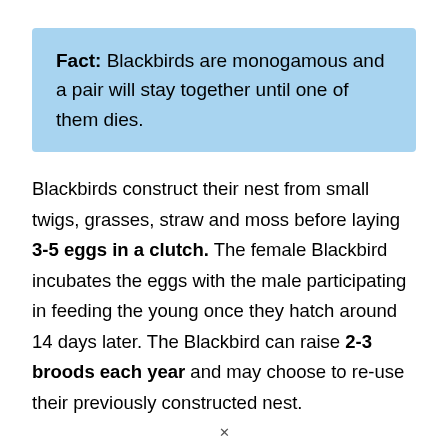Fact: Blackbirds are monogamous and a pair will stay together until one of them dies.
Blackbirds construct their nest from small twigs, grasses, straw and moss before laying 3-5 eggs in a clutch. The female Blackbird incubates the eggs with the male participating in feeding the young once they hatch around 14 days later. The Blackbird can raise 2-3 broods each year and may choose to re-use their previously constructed nest.